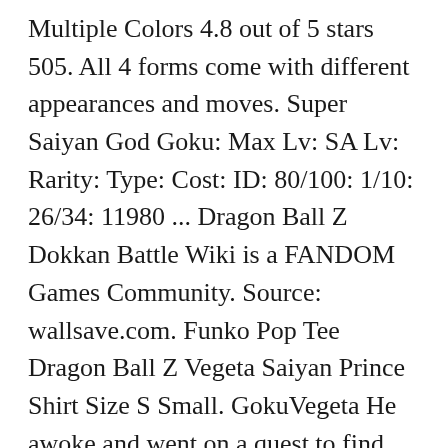Multiple Colors 4.8 out of 5 stars 505. All 4 forms come with different appearances and moves. Super Saiyan God Goku: Max Lv: SA Lv: Rarity: Type: Cost: ID: 80/100: 1/10: 26/34: 11980 ... Dragon Ball Z Dokkan Battle Wiki is a FANDOM Games Community. Source: wallsave.com. Funko Pop Tee Dragon Ball Z Vegeta Saiyan Prince Shirt Size S Small. GokuVegeta He awoke and went on a quest to find this legendary transformation, eventually landing on Earth and finding Goku. Super Saiyan God is the least dramatic Saiyan transformation. C $29.07 1 bid + shipping . Anime When Goku attempts to interfere, Fu ends up corrupting his Blue form as well, but